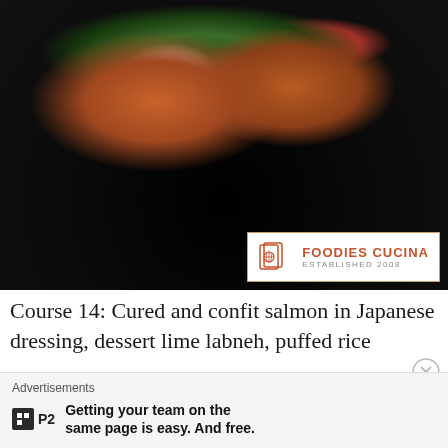[Figure (photo): Close-up photo of a fine dining dish: cured and confit salmon pieces on a dark stone plate, garnished with microgreens, white labneh dots, puffed rice, and colorful herbs. Dark, moody lighting. Foodies Cucina logo overlay in bottom-right corner.]
Course 14: Cured and confit salmon in Japanese dressing, dessert lime labneh, puffed rice
Advertisements
Getting your team on the same page is easy. And free.